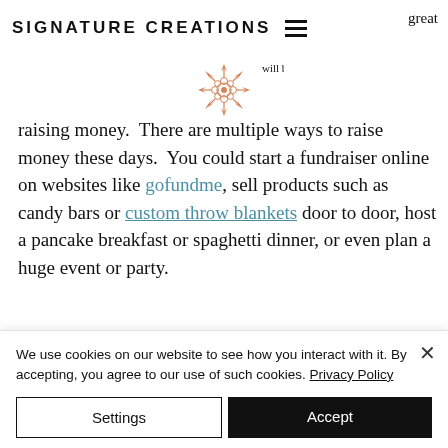SIGNATURE CREATIONS
[Figure (illustration): Decorative flower/star logo in salmon/copper color]
...great ...will be raising money.  There are multiple ways to raise money these days.  You could start a fundraiser online on websites like gofundme, sell products such as candy bars or custom throw blankets door to door, host a pancake breakfast or spaghetti dinner, or even plan a huge event or party.
After all that hard work, it is time to start...
We use cookies on our website to see how you interact with it. By accepting, you agree to our use of such cookies. Privacy Policy
Settings
Accept